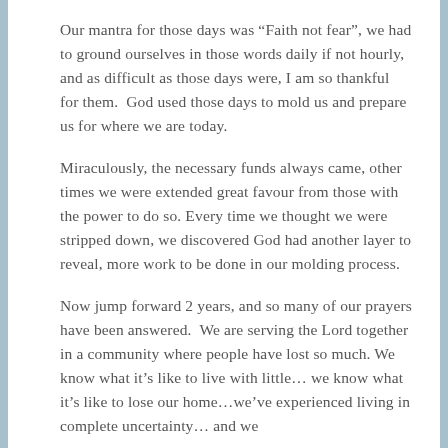Our mantra for those days was “Faith not fear”, we had to ground ourselves in those words daily if not hourly, and as difficult as those days were, I am so thankful for them.  God used those days to mold us and prepare us for where we are today.
Miraculously, the necessary funds always came, other times we were extended great favour from those with the power to do so. Every time we thought we were stripped down, we discovered God had another layer to reveal, more work to be done in our molding process.
Now jump forward 2 years, and so many of our prayers have been answered.  We are serving the Lord together in a community where people have lost so much. We know what it’s like to live with little… we know what it’s like to lose our home…we’ve experienced living in complete uncertainty… and we